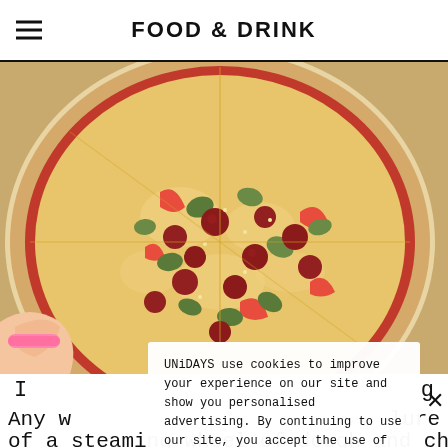FOOD & DRINK
[Figure (photo): Close-up photo of a pizza topped with pepperoni, green peppers/jalapeños, and red peppers on a tomato and cheese base, with a hand wearing a pink bracelet cutting it]
UNiDAYS use cookies to improve your experience on our site and show you personalised advertising. By continuing to use our site, you accept the use of our cookies as described in our Cookie Policy.
Any w                                                        lure
of a steaming wheel of dough and cheese. From